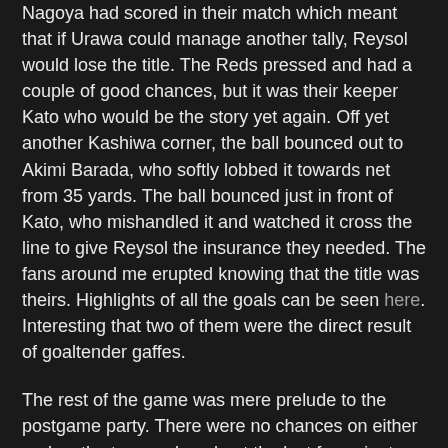Nagoya had scored in their match which meant that if Urawa could manage another tally, Reysol would lose the title. The Reds pressed and had a couple of good chances, but it was their keeper Kato who would be the story yet again. Off yet another Kashiwa corner, the ball bounced out to Akimi Barada, who softly lobbed it towards net from 35 yards. The ball bounced just in front of Kato, who mishandled it and watched it cross the line to give Reysol the insurance they needed. The fans around me erupted knowing that the title was theirs. Highlights of all the goals can be seen here. Interesting that two of them were the direct result of goaltender gaffes.
The rest of the game was mere prelude to the postgame party. There were no chances on either end as the teams played out the last few minutes with Reysol knowing they were about to be crowned 2011 J League Champions.
The Celebration
When the final whistle blew, the Reysol players collapsed in exhaustion on the field while the substitutes raced over to